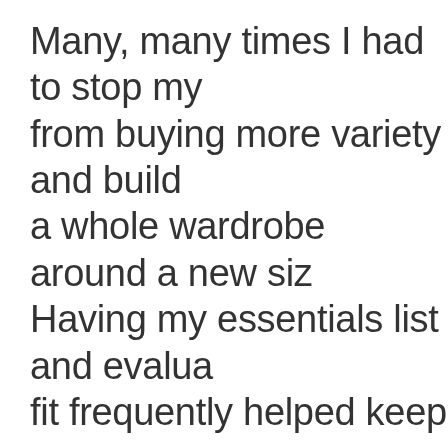Many, many times I had to stop my from buying more variety and build a whole wardrobe around a new siz Having my essentials list and evalua fit frequently helped keep me on m roadmap. I am trying not to go bey my essentials list until my goal weig
9. Enjoy your weight loss and your improved health. Appreciate your strength and persistence.